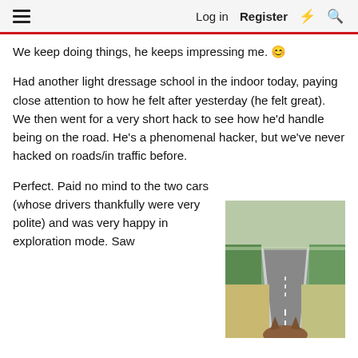Log in  Register
We keep doing things, he keeps impressing me. 😊
Had another light dressage school in the indoor today, paying close attention to how he felt after yesterday (he felt great). We then went for a very short hack to see how he'd handle being on the road. He's a phenomenal hacker, but we've never hacked on roads/in traffic before.
Perfect. Paid no mind to the two cars (whose drivers thankfully were very polite) and was very happy in exploration mode. Saw some cows, wants to be friends. 🐄♥
[Figure (photo): View from horseback on a rural road, horse ears visible at bottom, straight road with grass and fields on either side]
Very chuffed with himself